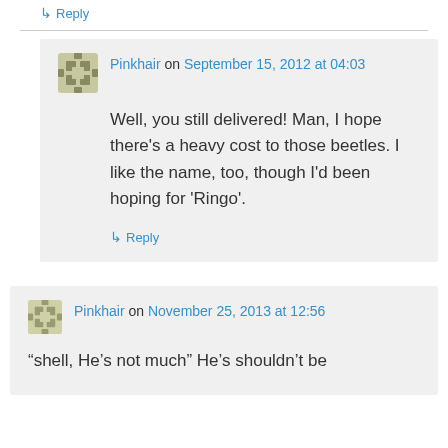↳ Reply
Pinkhair on September 15, 2012 at 04:03
Well, you still delivered! Man, I hope there's a heavy cost to those beetles. I like the name, too, though I'd been hoping for 'Ringo'.
↳ Reply
Pinkhair on November 25, 2013 at 12:56
“shell, He's not much” He's shouldn't be